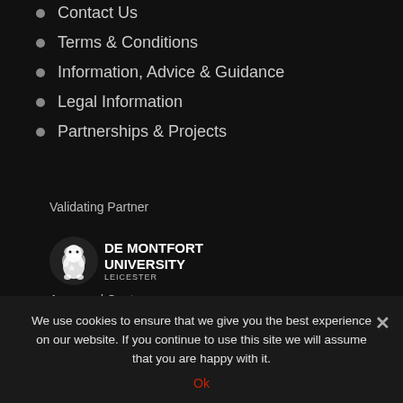Contact Us
Terms & Conditions
Information, Advice & Guidance
Legal Information
Partnerships & Projects
Validating Partner
[Figure (logo): De Montfort University Leicester logo — white lion icon with text DE MONTFORT UNIVERSITY LEICESTER]
Approved Centre
[Figure (logo): Pearson logo — white circle with question mark P icon and text Pearson]
We use cookies to ensure that we give you the best experience on our website. If you continue to use this site we will assume that you are happy with it.
Ok